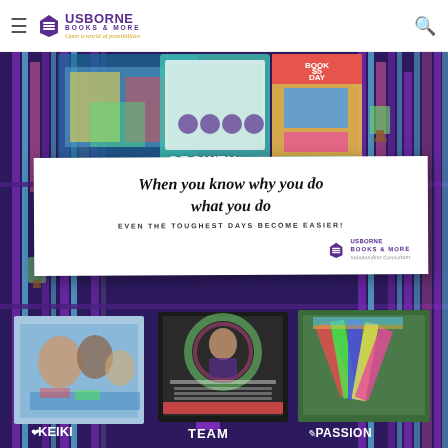Usborne Books & More — Open a world of possibilities
[Figure (photo): Usborne Books & More promotional collage image with bookshelf background, featuring product images, a motivational quote card reading 'When you know why you do what you do, EVEN THE TOUGHEST DAYS BECOME EASIER!', and labeled sections: GROWTH, ACCESS, KEIKI, TEAM, PASSION with small photo thumbnails at bottom.]